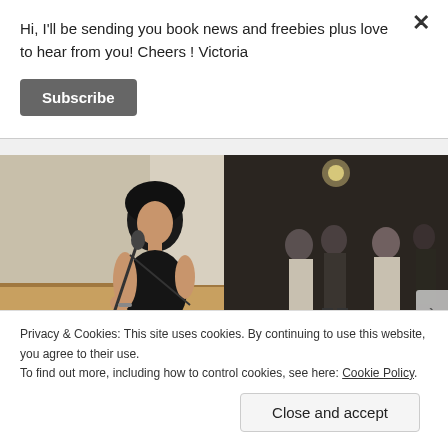Hi, I'll be sending you book news and freebies plus love to hear from you! Cheers ! Victoria
Subscribe
[Figure (photo): Two side-by-side photographs: left shows a woman in a black dress speaking at a microphone at what appears to be a public event; right is a black-and-white photo showing three people standing in a dark stage or room setting.]
Privacy & Cookies: This site uses cookies. By continuing to use this website, you agree to their use.
To find out more, including how to control cookies, see here: Cookie Policy
Close and accept